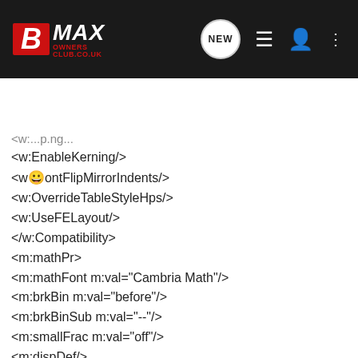[Figure (screenshot): BMAX Owners Club website navigation bar with logo, NEW button, list icon, user icon, and menu icon on dark background]
Search Community
<w:EnableKerning/>
<w:FontFlipMirrorIndents/>
<w:OverrideTableStyleHps/>
<w:UseFELayout/>
</w:Compatibility>
<m:mathPr>
<m:mathFont m:val="Cambria Math"/>
<m:brkBin m:val="before"/>
<m:brkBinSub m:val="--"/>
<m:smallFrac m:val="off"/>
<m:dispDef/>
<m:lMargin m:val="0"/>
<m:rMargin m:val="0"/>
<m:defJc m:val="centerGroup"/>
<m:wrapIndent m:val="1440"/>